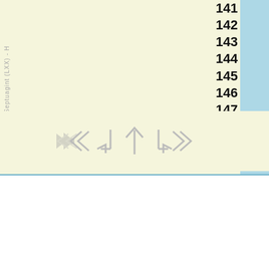on's Septuagint (LXX) - H
| 141 |
| 142 |
| 143 |
| 144 |
| 145 |
| 146 |
| 147 |
| 148 |
| 149 |
| 150 |
[Figure (other): Navigation arrows: left double arrow, down-left arrow, up arrow, down-right arrow, right double arrow]